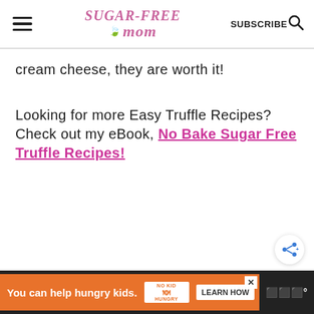Sugar-Free Mom - SUBSCRIBE
cream cheese, they are worth it!
Looking for more Easy Truffle Recipes? Check out my eBook, No Bake Sugar Free Truffle Recipes!
[Figure (other): Share button icon with plus symbol]
You can help hungry kids. NO KID HUNGRY LEARN HOW